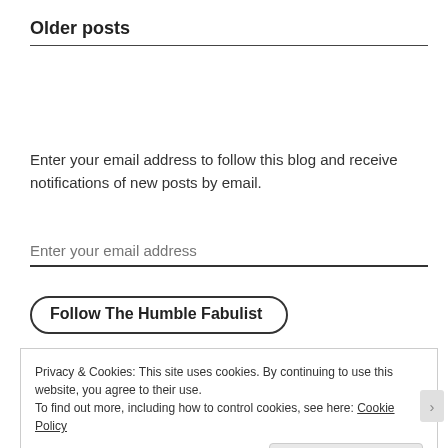Older posts
Enter your email address to follow this blog and receive notifications of new posts by email.
Enter your email address
Follow The Humble Fabulist
Privacy & Cookies: This site uses cookies. By continuing to use this website, you agree to their use. To find out more, including how to control cookies, see here: Cookie Policy
Close and accept